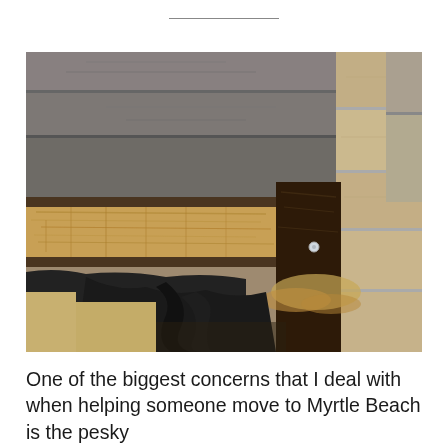[Figure (photo): Close-up photograph of severely rotted and deteriorated wooden structural lumber, showing extensive wood decay with dark brown rotting, exposed fibrous interior, and black roofing felt/membrane material underneath. A newer light-colored wood board is visible on the right side for contrast.]
One of the biggest concerns that I deal with when helping someone move to Myrtle Beach is the pesky